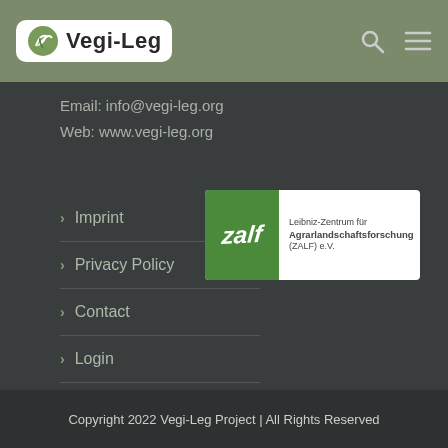[Figure (logo): Vegi-Leg website header navigation bar with logo on left and search/menu icons on right]
Email: info@vegi-leg.org
Web: www.vegi-leg.org
> Imprint
> Privacy Policy
> Contact
> Login
[Figure (logo): ZALF logo - Leibniz-Zentrum für Agrarlandschaftsforschung (ZALF) e.V. with green square and white text]
Copyright 2022 Vegi-Leg Project | All Rights Reserved